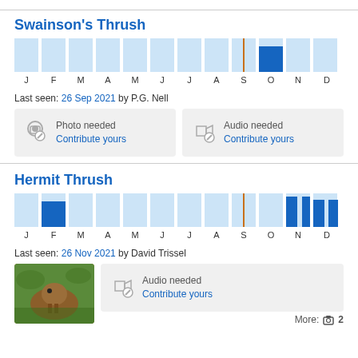Swainson's Thrush
[Figure (bar-chart): Swainson's Thrush occurrence by month]
Last seen: 26 Sep 2021 by P.G. Nell
Photo needed
Contribute yours
Audio needed
Contribute yours
Hermit Thrush
[Figure (bar-chart): Hermit Thrush occurrence by month]
Last seen: 26 Nov 2021 by David Trissel
[Figure (photo): Photo of Hermit Thrush bird]
Audio needed
Contribute yours
More: 2